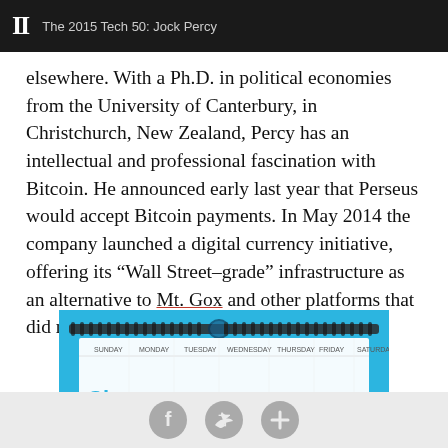II  The 2015 Tech 50: Jock Percy
elsewhere. With a Ph.D. in political economies from the University of Canterbury, in Christchurch, New Zealand, Percy has an intellectual and professional fascination with Bitcoin. He announced early last year that Perseus would accept Bitcoin payments. In May 2014 the company launched a digital currency initiative, offering its “Wall Street–grade” infrastructure as an alternative to Mt. Gox and other platforms that did not serve Bitcoin well.
[Figure (screenshot): Partial screenshot of a calendar app with a blue header, spiral binding graphic at the top, and a calendar grid showing day columns.]
Social sharing icons: Facebook, Twitter, Plus